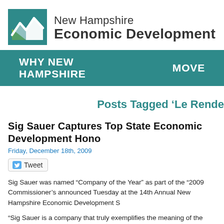[Figure (logo): New Hampshire Economic Development logo with teal and green mountain/graph mark]
New Hampshire Economic Development
WHY NEW HAMPSHIRE   MOVE
Posts Tagged ‘Le Rende
Sig Sauer Captures Top State Economic Development Hono
Friday, December 18th, 2009
Tweet
Sig Sauer was named “Company of the Year” as part of the “2009 Commissioner’s announced Tuesday at the 14th Annual New Hampshire Economic Development S
“Sig Sauer is a company that truly exemplifies the meaning of the word ‘innovation’,” New Hampshire Department of Resources & Economic Development Commissioner George Bald said. "With a little land from